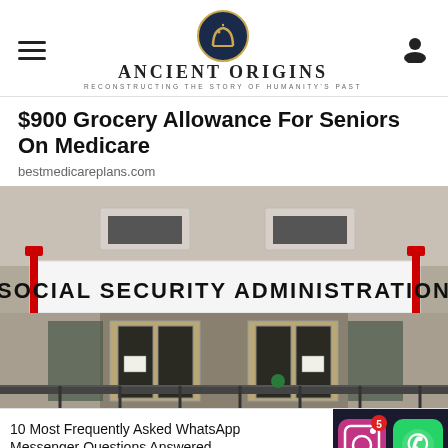Ancient Origins — Reconstructing the Story of Humanity's Past
$900 Grocery Allowance For Seniors On Medicare
bestmedicareplans.com
[Figure (photo): Exterior of a Social Security Administration building with large banner sign reading SOCIAL SECURITY ADMINISTRATION, showing entrance doors and railing]
10 Most Frequently Asked WhatsApp Messenger Questions Answered
Annurse